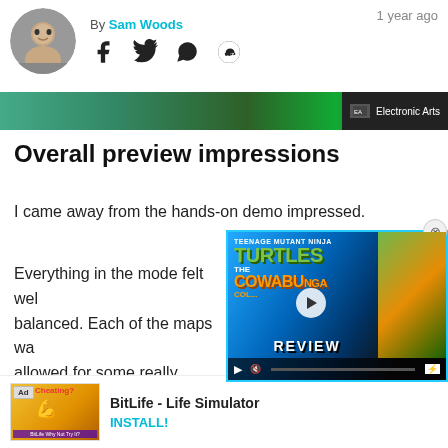By Sam Woods
1 year ago
[Figure (screenshot): Dark game banner image with Electronic Arts logo badge in bottom right corner]
Overall preview impressions
I came away from the hands-on demo impressed.
Everything in the mode felt well balanced. Each of the maps wa... allowed for some really strategi...
[Figure (screenshot): Teenage Mutant Ninja Turtles: The Cowabunga Collection Review video overlay with play button and turtle artwork]
BitLife - Life Simulator
INSTALL!